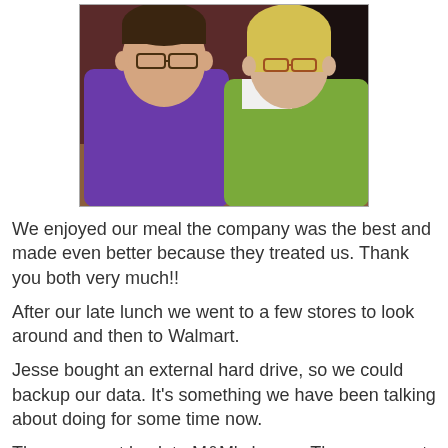[Figure (photo): Two people sitting at a restaurant table. On the left, a man wearing a purple hoodie with glasses. On the right, a woman wearing a green jacket with glasses. There is a drink with a straw on the table.]
We enjoyed our meal the company was the best and made even better because they treated us. Thank you both very much!!
After our late lunch we went to a few stores to look around and then to Walmart.
Jesse bought an external hard drive, so we could backup our data. It's something we have been talking about doing for some time now.
Then we went back to M&M's house. The guys went downstairs to the computer/family room. They were working on getting our old laptop charged enough so we could get data off that